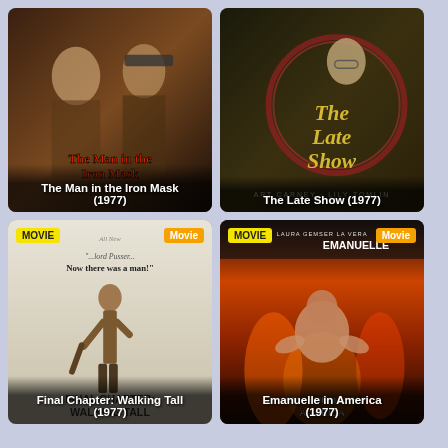[Figure (photo): Movie poster for The Man in the Iron Mask (1977) showing two men with swords and red title text]
The Man in the Iron Mask (1977)
[Figure (photo): Movie poster for The Late Show (1977) showing elderly man and circular title design in yellow]
The Late Show (1977)
[Figure (photo): Movie poster for Final Chapter: Walking Tall (1977) showing a lone man with a club, white background with MOVIE and Movie badges]
Final Chapter: Walking Tall (1977)
[Figure (photo): Movie poster for Emanuelle in America (1977) showing Laura Gemser with fire background, with MOVIE and Movie badges]
Emanuelle in America (1977)